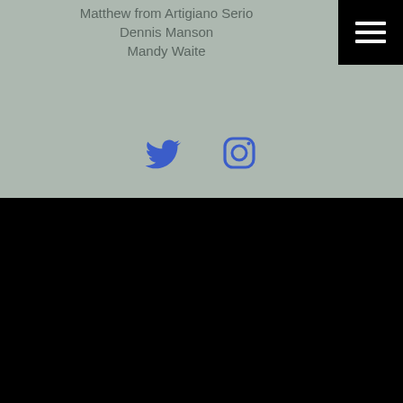Matthew from Artigiano Serio
Dennis Manson
Mandy Waite
[Figure (illustration): Twitter bird icon (blue) and Instagram camera icon (blue) as social media links]
LINKS
Email : It's still a thing!
Twitter : It's not just for angry politics!
Instagram : It's no longer for tweens and twinkies!